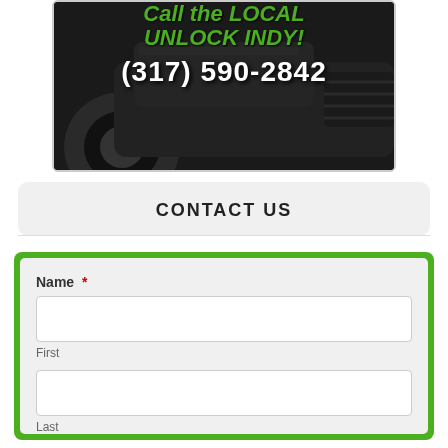[Figure (photo): Advertisement image showing a dark car with green text 'Call the LOCAL ... UNLOCK INDY!' and white phone number '(317) 590-2842' on a dark background]
CONTACT US
Name * First Last